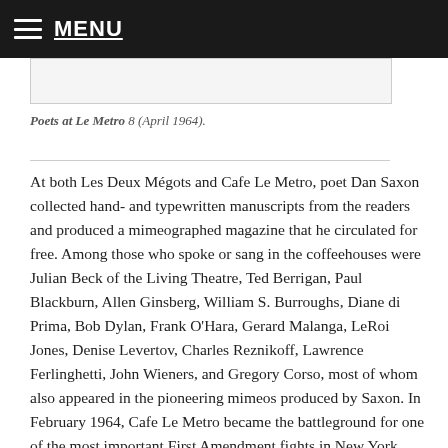MENU
Poets at Le Metro 8 (April 1964).
At both Les Deux Mégots and Cafe Le Metro, poet Dan Saxon collected hand- and typewritten manuscripts from the readers and produced a mimeographed magazine that he circulated for free. Among those who spoke or sang in the coffeehouses were Julian Beck of the Living Theatre, Ted Berrigan, Paul Blackburn, Allen Ginsberg, William S. Burroughs, Diane di Prima, Bob Dylan, Frank O'Hara, Gerard Malanga, LeRoi Jones, Denise Levertov, Charles Reznikoff, Lawrence Ferlinghetti, John Wieners, and Gregory Corso, most of whom also appeared in the pioneering mimeos produced by Saxon. In February 1964, Cafe Le Metro became the battleground for one of the most important First Amendment fights in New York City's literary history. A city license inspector appeared at a reading by Jackson Mac